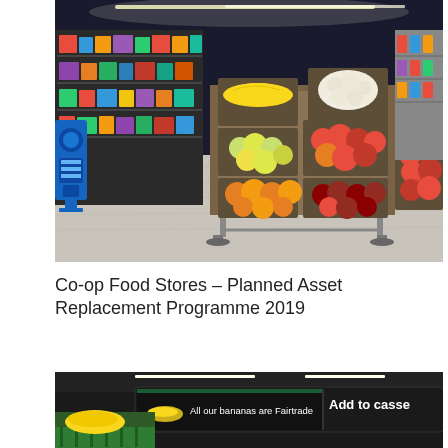[Figure (photo): Interior of a Co-op food store showing produce aisles with wooden crates displaying fruits including bananas, oranges, apples, and other colourful fruits. The store has dark ceiling with track lighting and well-stocked shelves in the background.]
Co-op Food Stores – Planned Asset Replacement Programme 2019
[Figure (photo): Close-up of a digital display screen or signage in a Co-op store showing text 'All our bananas are Fairtrade' and partially visible text 'Add to casse' (cassel/casserole). Fresh produce visible in foreground.]